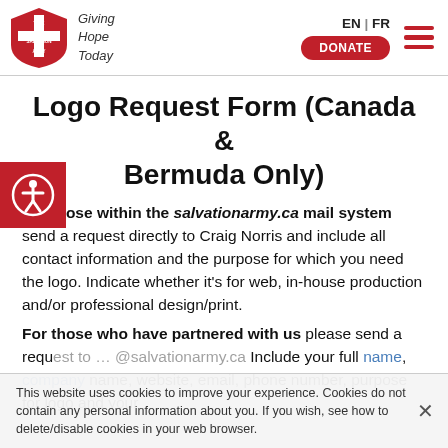The Salvation Army — Giving Hope Today | EN | FR | DONATE
Logo Request Form (Canada & Bermuda Only)
For those within the salvationarmy.ca mail system send a request directly to Craig Norris and include all contact information and the purpose for which you need the logo. Indicate whether it's for web, in-house production and/or professional design/print.
For those who have partnered with us please send a request to ... @salvationarmy.ca Include your full name, company name, website, email, phone number, purpose for logo and your
This website uses cookies to improve your experience. Cookies do not contain any personal information about you. If you wish, see how to delete/disable cookies in your web browser.